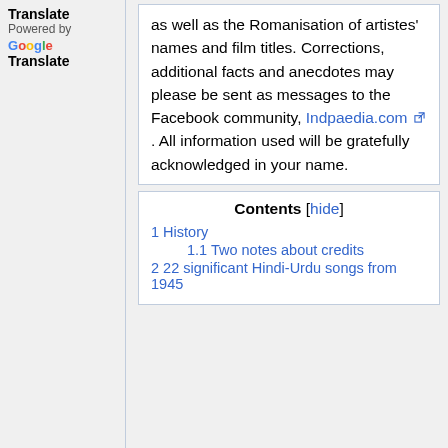Translate
Powered by
Google
Translate
as well as the Romanisation of artistes' names and film titles. Corrections, additional facts and anecdotes may please be sent as messages to the Facebook community, Indpaedia.com. All information used will be gratefully acknowledged in your name.
Contents [hide]
1 History
1.1 Two notes about credits
2 22 significant Hindi-Urdu songs from 1945